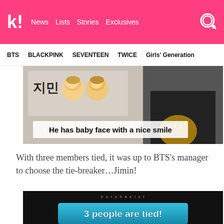k! News Lists Stories Exclusives
BTS  BLACKPINK  SEVENTEEN  TWICE  Girls' Generation
[Figure (screenshot): Screenshot showing Korean text '지민' with face sticker images and a person in a black t-shirt, with caption overlay 'He has baby face with a nice smile']
With three members tied, it was up to BTS's manager to choose the tie-breaker…Jimin!
[Figure (screenshot): Dark background image with watermark 'borohaeist' and a cyan banner at the bottom reading '3 people are tied!']